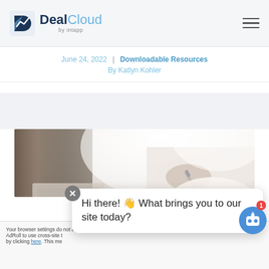DealCloud by Intapp – navigation header with hamburger menu
June 24, 2022 | Downloadable Resources
By Katlyn Kohler
[Figure (photo): Person in white shirt holding a pen over a laptop, close-up shot with soft bright lighting]
Your browser settings do not allow AdRoll to use cross-site t by clicking here. This me
Hi there! 👋 What brings you to our site today?